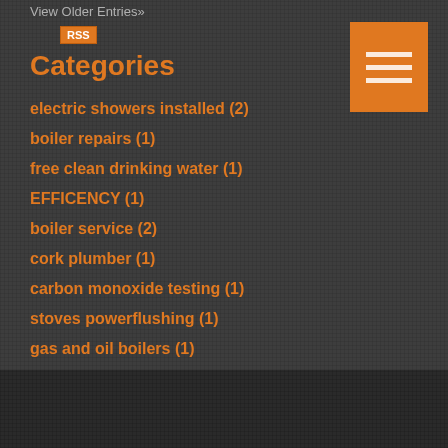View Older Entries»
[Figure (logo): RSS badge — orange rectangle with white RSS text]
Categories
[Figure (other): Orange hamburger/menu icon with three horizontal white lines]
electric showers installed (2)
boiler repairs (1)
free clean drinking water (1)
EFFICENCY (1)
boiler service (2)
cork plumber (1)
carbon monoxide testing (1)
stoves powerflushing (1)
gas and oil boilers (1)
leaks (1)